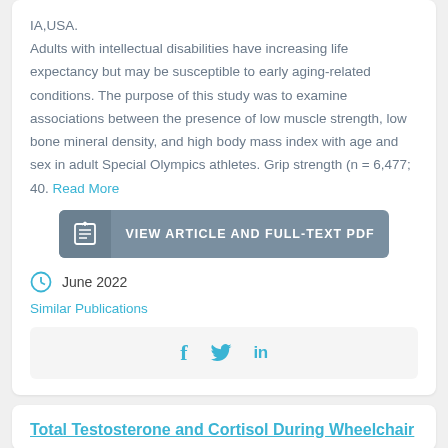IA,USA. Adults with intellectual disabilities have increasing life expectancy but may be susceptible to early aging-related conditions. The purpose of this study was to examine associations between the presence of low muscle strength, low bone mineral density, and high body mass index with age and sex in adult Special Olympics athletes. Grip strength (n = 6,477; 40. Read More
VIEW ARTICLE AND FULL-TEXT PDF
June 2022
Similar Publications
f  in (social share icons)
Total Testosterone and Cortisol During Wheelchair